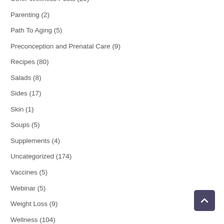Other Wellness Posts (20)
Parenting (2)
Path To Aging (5)
Preconception and Prenatal Care (9)
Recipes (80)
Salads (8)
Sides (17)
Skin (1)
Soups (5)
Supplements (4)
Uncategorized (174)
Vaccines (5)
Webinar (5)
Weight Loss (9)
Wellness (104)